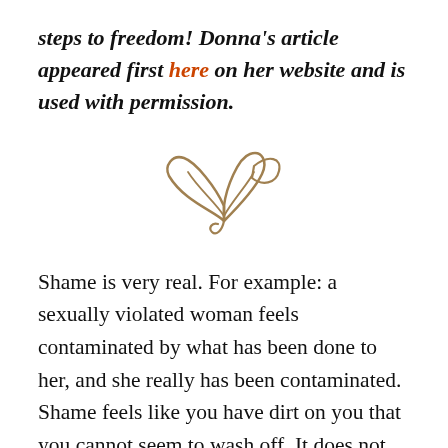steps to freedom! Donna's article appeared first here on her website and is used with permission.
[Figure (illustration): Decorative logo icon of an open book with a leaf or bird motif, rendered in tan/brown color]
Shame is very real. For example: a sexually violated woman feels contaminated by what has been done to her, and she really has been contaminated. Shame feels like you have dirt on you that you cannot seem to wash off. It does not matter how you have been violated, shame causes you to believe